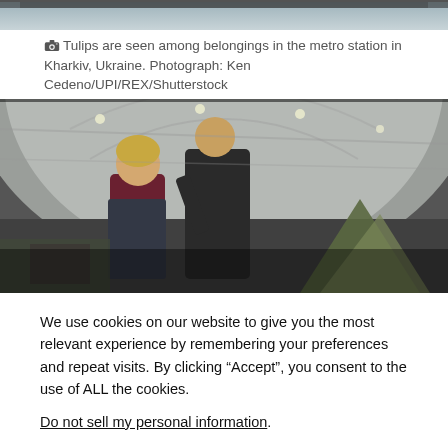[Figure (photo): Top portion of a photo showing the metro station interior in Kharkiv, Ukraine — top strip partially visible]
Tulips are seen among belongings in the metro station in Kharkiv, Ukraine. Photograph: Ken Cedeno/UPI/REX/Shutterstock
[Figure (photo): Photo of two people inside a metro station tunnel in Kharkiv, Ukraine. A man in a black t-shirt stands behind a seated woman in a maroon top. Belongings including a camping tent are visible in the background.]
We use cookies on our website to give you the most relevant experience by remembering your preferences and repeat visits. By clicking “Accept”, you consent to the use of ALL the cookies.
Do not sell my personal information.